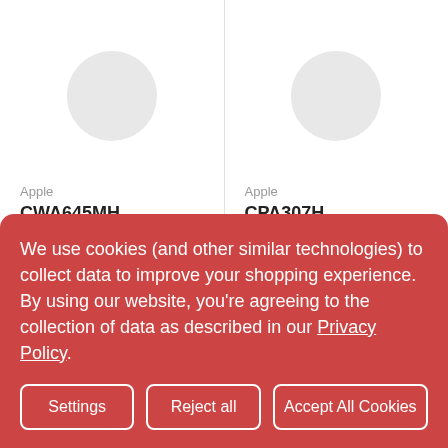[Figure (screenshot): Two product listing columns showing circular image placeholders for Apple products. Left column shows brand 'Apple' and product code 'CWA645MH'. Right column shows brand 'Apple' and product code 'CPA307H'. A circular up-arrow button appears at the right.]
Apple
CWA645MH
Apple
CPA307H
We use cookies (and other similar technologies) to collect data to improve your shopping experience. By using our website, you're agreeing to the collection of data as described in our Privacy Policy.
Settings
Reject all
Accept All Cookies